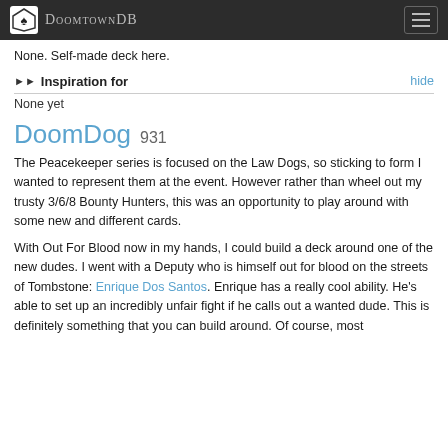DoomtownDB
None. Self-made deck here.
Inspiration for
None yet
DoomDog 931
The Peacekeeper series is focused on the Law Dogs, so sticking to form I wanted to represent them at the event. However rather than wheel out my trusty 3/6/8 Bounty Hunters, this was an opportunity to play around with some new and different cards.
With Out For Blood now in my hands, I could build a deck around one of the new dudes. I went with a Deputy who is himself out for blood on the streets of Tombstone: Enrique Dos Santos. Enrique has a really cool ability. He's able to set up an incredibly unfair fight if he calls out a wanted dude. This is definitely something that you can build around. Of course, most